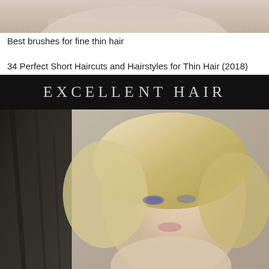[Figure (photo): Top portion of a person with light/blonde hair wearing a light beige/pink top, cropped to show only the lower face and shoulders]
Best brushes for fine thin hair
34 Perfect Short Haircuts and Hairstyles for Thin Hair (2018)
[Figure (photo): Photo of a blonde woman with short wavy bob hairstyle, wearing eye makeup, posed against a dark textured wall. The image has a black banner at the top reading 'EXCELLENT HAIR' in spaced capital letters.]